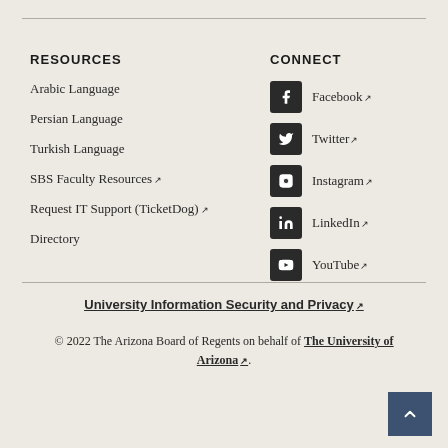RESOURCES
Arabic Language
Persian Language
Turkish Language
SBS Faculty Resources ↗
Request IT Support (TicketDog) ↗
Directory
CONNECT
Facebook ↗
Twitter ↗
Instagram ↗
LinkedIn ↗
YouTube ↗
University Information Security and Privacy ↗
© 2022 The Arizona Board of Regents on behalf of The University of Arizona ↗.